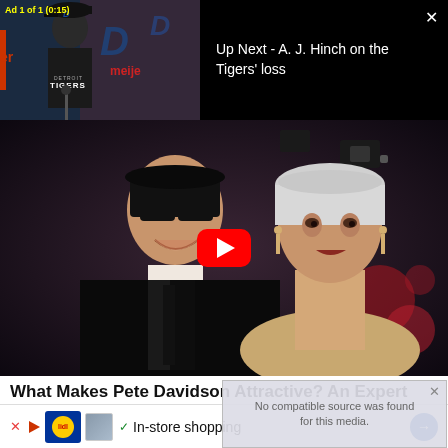[Figure (screenshot): Video ad thumbnail showing Detroit Tigers press conference with 'Ad 1 of 1 (0:15)' label and 'Up Next - A. J. Hinch on the Tigers' loss' text on black background with close X button]
[Figure (screenshot): Main video thumbnail showing Pete Davidson and Kim Kardashian at an event, with YouTube-style red play button overlay]
What Makes Pete Davidson Attractive? An Expert Explains
TRAITSLAB
No compatible source was found for this media.
[Figure (screenshot): Bottom advertisement showing Lidl store ad with In-store shopping text and navigation arrows]